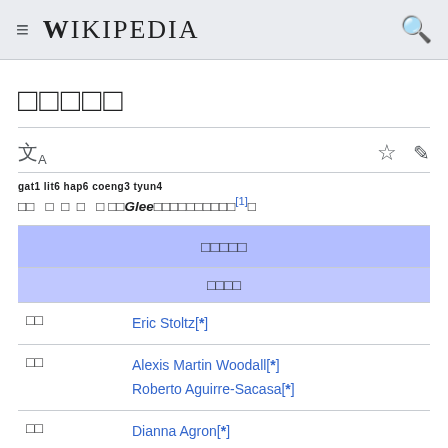≡  WIKIPEDIA  🔍
□□□□□
gat1 lit6 hap6 coeng3 tyun4
□□ □ □ □ □ □□Glee□□□□□□□□□□□[1]□
| □□□□□ | □□□□ |
| --- | --- |
| □□ | Eric Stoltz[*] |
| □□ | Alexis Martin Woodall[*]
Roberto Aguirre-Sacasa[*] |
| □□ | Dianna Agron[*] |